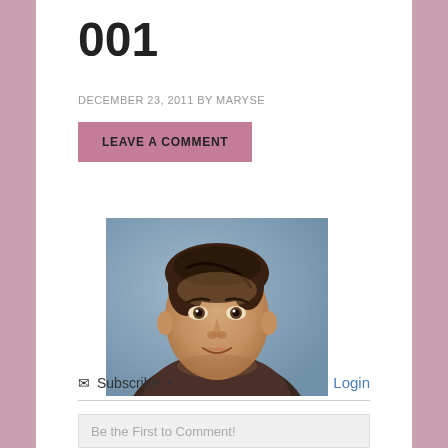001
DECEMBER 23, 2011 BY MARYSE
LEAVE A COMMENT
[Figure (photo): Headshot of a young man with dark hair, looking directly at camera, against a blue-grey background. He has a slight smile and appears to be wearing a dark top.]
Subscribe  Login
Be the First to Comment!